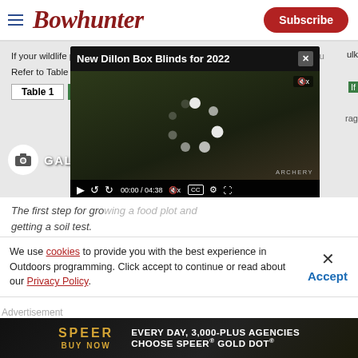Bowhunter | Subscribe
[Figure (screenshot): Screenshot of a Bowhunter article page showing a table about wildlife plot fertilizer, a gallery badge with camera icon, and an overlaid video player titled 'New Dillon Box Blinds for 2022' at timestamp 00:00 / 04:38]
The first step for growing a food plot and getting a soil test.
I've gone both routes, largely because I use to try to
We use cookies to provide you with the best experience in Outdoors programming. Click accept to continue or read about our Privacy Policy.
[Figure (infographic): Speer Gold Dot advertisement banner: EVERY DAY, 3,000-PLUS AGENCIES CHOOSE SPEER GOLD DOT, BUY NOW]